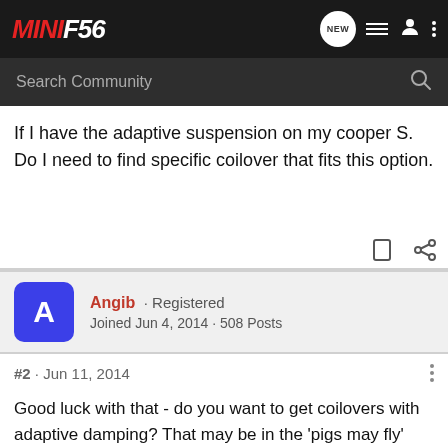MINIF56
If I have the adaptive suspension on my cooper S. Do I need to find specific coilover that fits this option.
Angib · Registered
Joined Jun 4, 2014 · 508 Posts
#2 · Jun 11, 2014
Good luck with that - do you want to get coilovers with adaptive damping? That may be in the 'pigs may fly' timescale. If you go